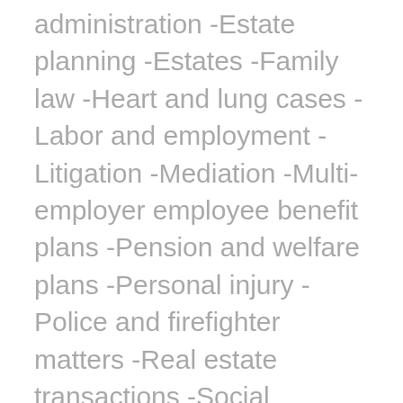administration -Estate planning -Estates -Family law -Heart and lung cases -Labor and employment -Litigation -Mediation -Multi-employer employee benefit plans -Pension and welfare plans -Personal injury -Police and firefighter matters -Real estate transactions -Social Security disability -Trusts and probate proceedings -Wills -Workers compensation Focusing on favorable outcomes: For more than 10 years, we have helped individuals and businesses of all sizes resolve their legal issues in a timely fashion. Our